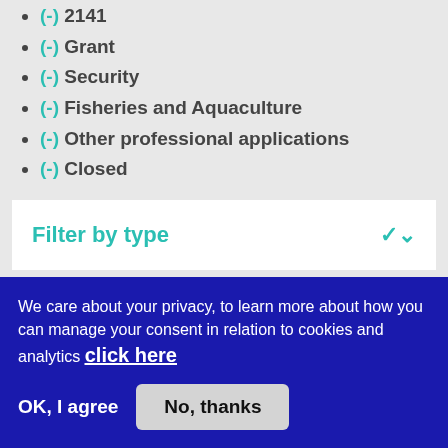(-) 2141
(-) Grant
(-) Security
(-) Fisheries and Aquaculture
(-) Other professional applications
(-) Closed
Filter by type
Filter by status
We care about your privacy, to learn more about how you can manage your consent in relation to cookies and analytics click here
OK, I agree
No, thanks